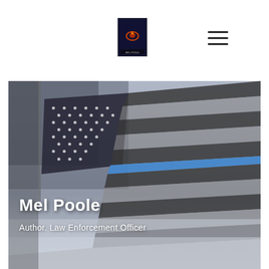[Figure (logo): Book cover logo thumbnail in page header]
[Figure (photo): Black and white photo of an American flag with a thin blue line stripe, with text overlay reading 'Mel Poole' and 'Author. Law Enforcement Officer']
Mel Poole
Author. Law Enforcement Officer